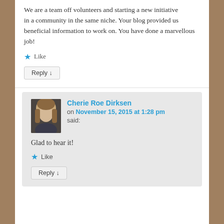We are a team off volunteers and starting a new initiative in a community in the same niche. Your blog provided us beneficial information to work on. You have done a marvellous job!
★ Like
Reply ↓
Cherie Roe Dirksen on November 15, 2015 at 1:28 pm said:
Glad to hear it!
★ Like
Reply ↓